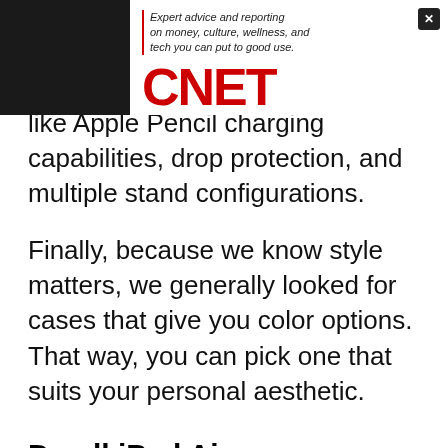[Figure (logo): CNET advertisement banner with tagline 'Expert advice and reporting on money, culture, wellness, and tech you can put to good use.' and red CNET logo]
like Apple Pencil charging capabilities, drop protection, and multiple stand configurations.
Finally, because we know style matters, we generally looked for cases that give you color options. That way, you can pick one that suits your personal aesthetic.
Do all iPad Air cases come with a stand?
While it's not a hard-and-fast rule that an iPad Air case must include a stand, the vast majority of the products on the market today do. All of the options